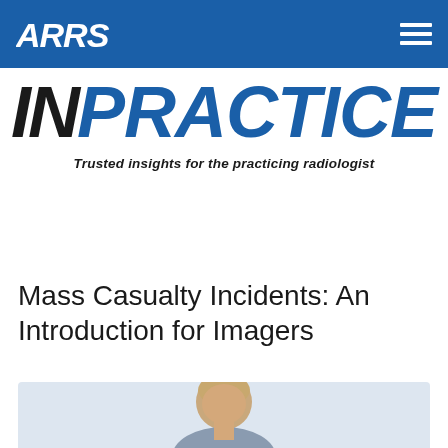ARRS
IN PRACTICE — Trusted insights for the practicing radiologist
Mass Casualty Incidents: An Introduction for Imagers
[Figure (photo): Portrait photo of a person, partially visible, circular crop, light colored hair, shown from shoulders up against a light blue-grey background]